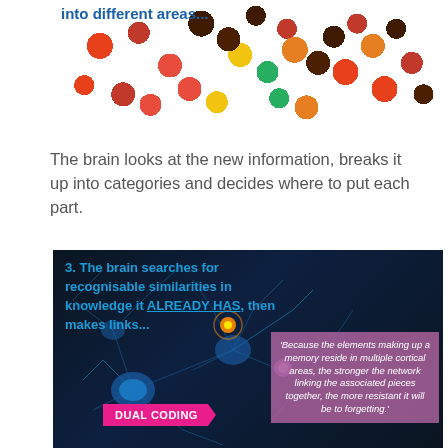[Figure (photo): Colourful candy/Skittles sorted into different areas on a white background, with text overlay reading 'into different areas...']
The brain looks at the new information, breaks it up into categories and decides where to put each part.
[Figure (photo): Neuron/brain cell digital illustration with glowing blue neural connections on dark background. Overlay text: '3. The brain searches for recognisable similarities in knowledge it ALREADY HAS, then makes links...' A pink arrow badge reading 'DUAL CODING' and a purple quote box: 'Because the elements making up a memory reside in multiple cortical areas, the stronger the network linking the associated pieces together, the more resistant it will be to forgetting.']